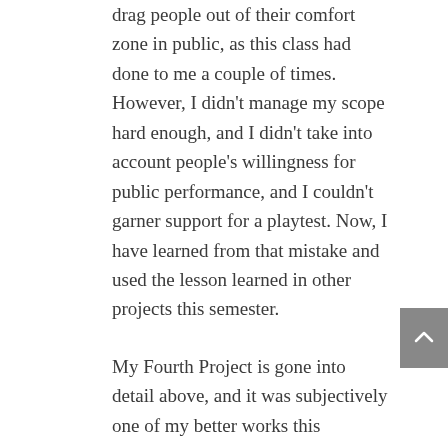drag people out of their comfort zone in public, as this class had done to me a couple of times. However, I didn't manage my scope hard enough, and I didn't take into account people's willingness for public performance, and I couldn't garner support for a playtest. Now, I have learned from that mistake and used the lesson learned in other projects this semester.
My Fourth Project is gone into detail above, and it was subjectively one of my better works this semester. I think I have greatly grown as a designer thanks to this course, with the materials, assignments, and other activities providing many new ideas to expand my scope for brainstorming and developing concepts. I am grateful for all the offerings this course had to help me grow and